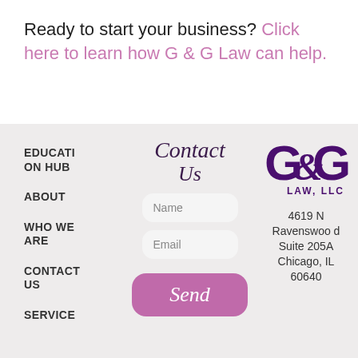Ready to start your business? Click here to learn how G & G Law can help.
EDUCATION HUB
ABOUT
WHO WE ARE
CONTACT US
SERVICE
Contact Us
[Figure (logo): G&G Law, LLC logo in dark purple]
4619 N Ravenswood Suite 205A Chicago, IL 60640